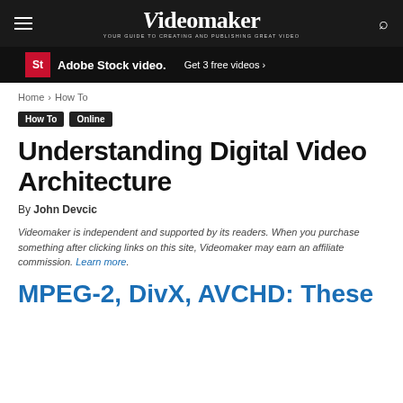Videomaker — YOUR GUIDE TO CREATING AND PUBLISHING GREAT VIDEO
[Figure (other): Adobe Stock video advertisement banner — 'Adobe Stock video. Get 3 free videos >']
Home › How To
How To   Online
Understanding Digital Video Architecture
By John Devcic
Videomaker is independent and supported by its readers. When you purchase something after clicking links on this site, Videomaker may earn an affiliate commission. Learn more.
MPEG-2, DivX, AVCHD: These